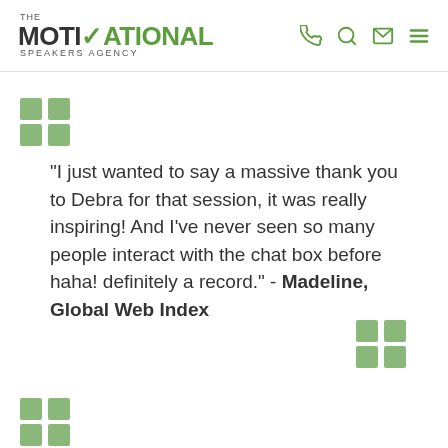[Figure (logo): The Motivational Speakers Agency logo with green checkmark and text]
"I just wanted to say a massive thank you to Debra for that session, it was really inspiring! And I've never seen so many people interact with the chat box before haha! definitely a record." - Madeline, Global Web Index